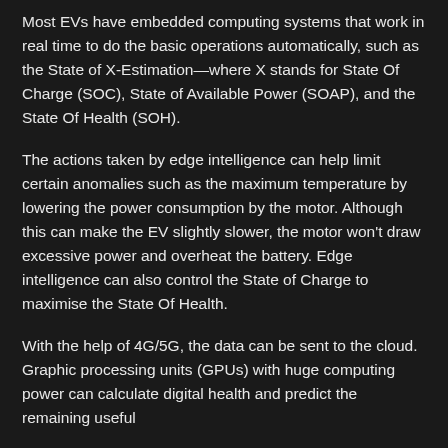Most EVs have embedded computing systems that work in real time to do the basic operations automatically, such as the State of X-Estimation—where X stands for State Of Charge (SOC), State of Available Power (SOAP), and the State Of Health (SOH).
The actions taken by edge intelligence can help limit certain anomalies such as the maximum temperature by lowering the power consumption by the motor. Although this can make the EV slightly slower, the motor won't draw excessive power and overheat the battery. Edge intelligence can also control the State of Charge to maximise the State Of Health.
With the help of 4G/5G, the data can be sent to the cloud. Graphic processing units (GPUs) with huge computing power can calculate digital health and predict the remaining useful